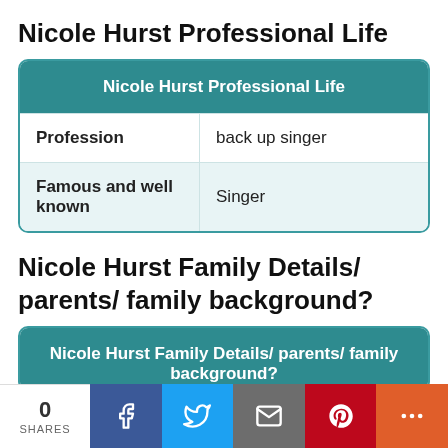Nicole Hurst Professional Life
| Nicole Hurst Professional Life |
| --- |
| Profession | back up singer |
| Famous and well known | Singer |
Nicole Hurst Family Details/ parents/ family background?
| Nicole Hurst Family Details/ parents/ family background? |
| --- |
0 SHARES | Facebook | Twitter | Email | Pinterest | More